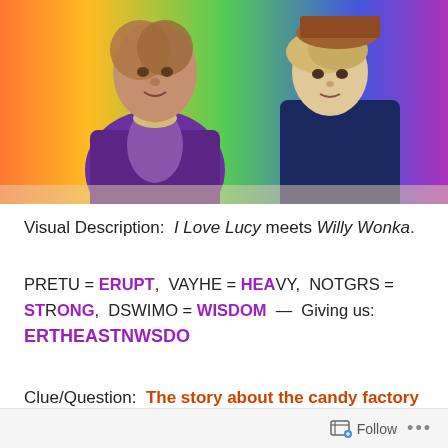[Figure (photo): A man in a purple suit with a large bow tie (Willy Wonka character, played by Gene Wilder) sits next to a young blond boy wearing a brown hat (Charlie Bucket), from the movie Willy Wonka & the Chocolate Factory, set against a colorful candy-factory background.]
Visual Description:  I Love Lucy meets Willy Wonka.
PRETU = ERUPT,  VAYHE = HEAVY,  NOTGRS = STRONG,  DSWIMO = WISDOM  —  Giving us: ERTHEASTNWSDO
Clue/Question:  The story about the candy factory was